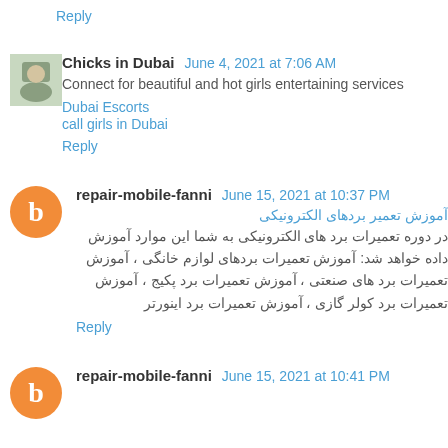Reply
Chicks in Dubai  June 4, 2021 at 7:06 AM
Connect for beautiful and hot girls entertaining services
Dubai Escorts
call girls in Dubai
Reply
repair-mobile-fanni  June 15, 2021 at 10:37 PM
آموزش تعمیر بردهای الکترونیکی
در دوره تعمیرات برد های الکترونیکی به شما این موارد آموزش داده خواهد شد: آموزش تعمیرات بردهای لوازم خانگی ، آموزش تعمیرات برد های صنعتی ، آموزش تعمیرات برد پکیج ، آموزش تعمیرات برد کولر گازی ، آموزش تعمیرات برد اینورتر
Reply
repair-mobile-fanni  June 15, 2021 at 10:41 PM